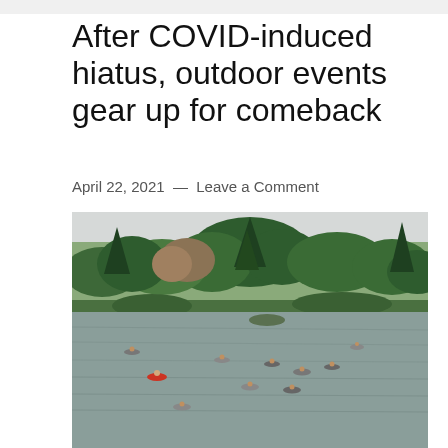After COVID-induced hiatus, outdoor events gear up for comeback
April 22, 2021 — Leave a Comment
[Figure (photo): Kayakers paddling on a lake surrounded by dense green forest and pine trees under an overcast sky.]